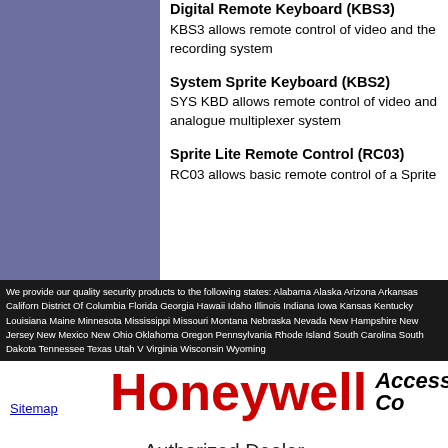Digital Remote Keyboard (KBS3)
KBS3 allows remote control of video and the recording system
System Sprite Keyboard (KBS2)
SYS KBD allows remote control of video and analogue multiplexer system
Sprite Lite Remote Control (RC03)
RC03 allows basic remote control of a Sprite
We provide our quality security products to the following states: Alabama Alaska Arizona Arkansas California District Of Columbia Florida Georgia Hawaii Idaho Illinois Indiana Iowa Kansas Kentucky Louisiana Maine Minnesota Mississippi Missouri Montana Nebraska Nevada New Hampshire New Jersey New Mexico New Ohio Oklahoma Oregon Pennsylvania Rhode Island South Carolina South Dakota Tennessee Texas Utah Virginia Wisconsin Wyoming
Sitemap
[Figure (logo): Honeywell Access Co logo — Honeywell in large red bold text, Access Co in black italic bold text]
Authorized Dealer